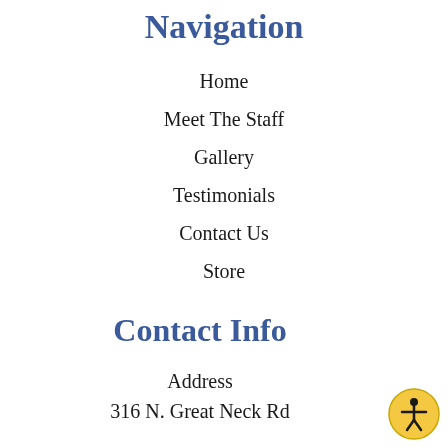Navigation
Home
Meet The Staff
Gallery
Testimonials
Contact Us
Store
Contact Info
Address
316 N. Great Neck Rd
[Figure (illustration): Accessibility icon — circular golden/yellow button with a person figure in the center, accessibility symbol]